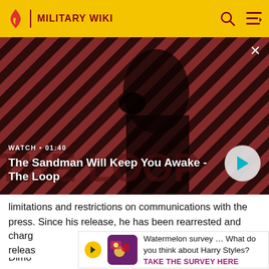MILITARY WIKI
[Figure (screenshot): Video thumbnail showing a dark-clad figure with a raven against a red diagonal stripe background. Watch label '01:40' and title 'The Sandman Will Keep You Awake - The Loop' with play button.]
WATCH • 01:40 — The Sandman Will Keep You Awake - The Loop
limitations and restrictions on communications with the press. Since his release, he has been rearrested and charged ... is release.
[Figure (infographic): Survey banner: Watermelon survey image, text 'Watermelon survey … What do you think about Harry Styles?' with CTA 'TAKE THE SURVEY HERE']
Dimo...ed